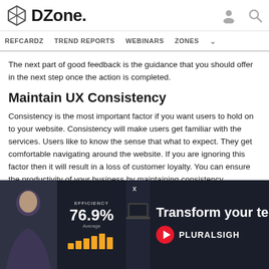DZone. REFCARDZ  TREND REPORTS  WEBINARS  ZONES
The next part of good feedback is the guidance that you should offer in the next step once the action is completed.
Maintain UX Consistency
Consistency is the most important factor if you want users to hold on to your website. Consistency will make users get familiar with the services. Users like to know the sense that what to expect. They get comfortable navigating around the website. If you are ignoring this factor then it will result in a loss of customer loyalty. You can ensure the productivity of your business by maintaining consistency.
Create an Enjoyable Product
users come back, again and again, that means your website is serving a
[Figure (screenshot): Advertisement overlay: Pluralsight ad showing a woman, efficiency stats at 76.9% Average, bar chart, and text 'Transform your techno...' with Pluralsight logo on dark background. Close button X at top center.]